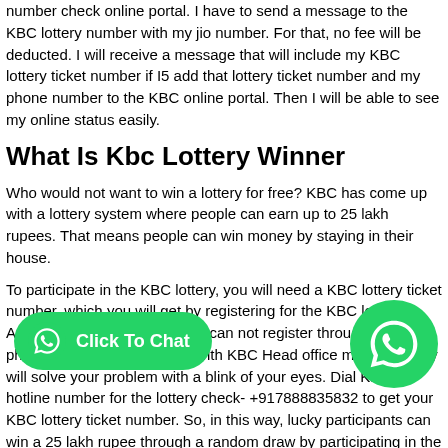number check online portal. I have to send a message to the KBC lottery number with my jio number. For that, no fee will be deducted. I will receive a message that will include my KBC lottery ticket number if I5 add that lottery ticket number and my phone number to the KBC online portal. Then I will be able to see my online status easily.
What Is Kbc Lottery Winner
Who would not want to win a lottery for free? KBC has come up with a lottery system where people can earn up to 25 lakh rupees. That means people can win money by staying in their house.
To participate in the KBC lottery, you will need a KBC lottery ticket number, which you will get by registering for the KBC lottery. Again, for some reason, if you can not register through your phone number, then contact with KBC Head office manager; they will solve your problem with a blink of your eyes. Dial KBC’s hotline number for the lottery check- +917888835832 to get your KBC lottery ticket number. So, in this way, lucky participants can win a 25 lakh rupee through a random draw by participating in the KBC lottery.
W…ry Manager Of Kh…
KBC is one of the famous Indian game shows that people watch with great enthusiasm. You can directly join the game show to win a cash prize by playing the game or register yourself in a lottery where you can also win a cash prize.